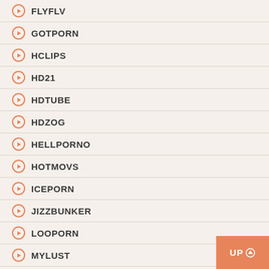FLYFLV
GOTPORN
HCLIPS
HD21
HDTUBE
HDZOG
HELLPORNO
HOTMOVS
ICEPORN
JIZZBUNKER
LOOPORN
MYLUST